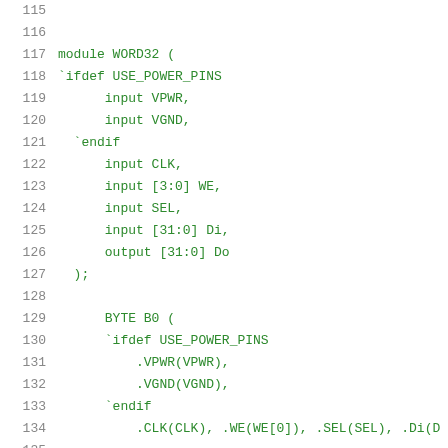[Figure (screenshot): Code listing showing Verilog HDL module WORD32 definition with ifdef USE_POWER_PINS, input/output ports, and BYTE B0 instantiation. Line numbers 115-136 visible.]